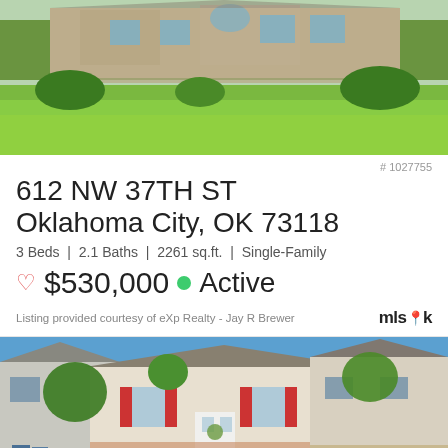[Figure (photo): Exterior photo of a house with large green lawn, stone/brick facade, and trees in background]
# 1027755
612 NW 37TH ST
Oklahoma City, OK 73118
3 Beds | 2.1 Baths | 2261 sq.ft. | Single-Family
♡ $530,000 ● Active
Listing provided courtesy of eXp Realty - Jay R Brewer
[Figure (photo): Exterior photo of a two-story colonial-style house with red shutters and trim, white siding, brick accents, green lawn, and trees; adjacent house visible on right]